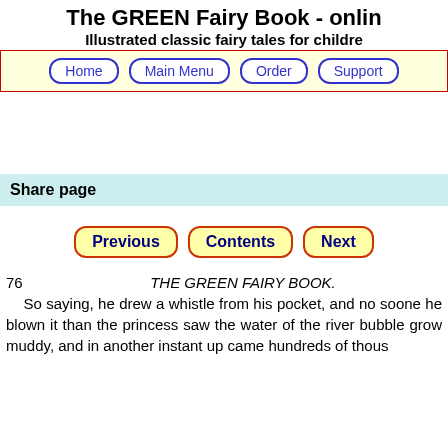The GREEN Fairy Book - onlin
Illustrated classic fairy tales for childre
Home | Main Menu | Order | Support
Share page
Previous | Contents | Next
76   THE GREEN FAIRY BOOK.

So saying, he drew a whistle from his pocket, and no sooner he blown it than the princess saw the water of the river bubble grow muddy, and in another instant up came hundreds of thous